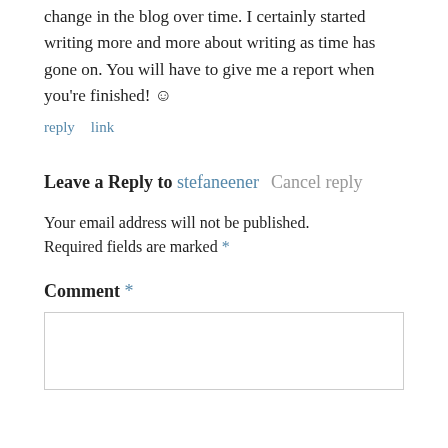change in the blog over time. I certainly started writing more and more about writing as time has gone on. You will have to give me a report when you’re finished! ☺
reply   link
Leave a Reply to stefaneener   Cancel reply
Your email address will not be published. Required fields are marked *
Comment *